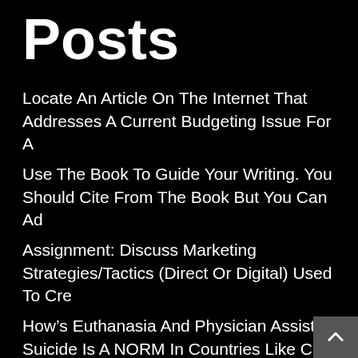Posts
Locate An Article On The Internet That Addresses A Current Budgeting Issue For A
Use The Book To Guide Your Writing. You Should Cite From The Book But You Can Ad
Assignment: Discuss Marketing Strategies/Tactics (Direct Or Digital) Used To Cre
How’s Euthanasia And Physician Assisted Suicide Is A NORM In Countries Like Can
Week 8 Discussion This Week, You Will Continue To Make Progress On The Week 9 As